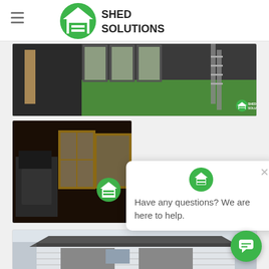Shed Solutions
[Figure (photo): Interior view of a shed with green grass floor and construction materials visible, Shed Solutions watermark in corner]
[Figure (photo): Interior view of a shed under construction showing windows, wooden framing, and equipment]
[Figure (screenshot): Chat popup overlay with Shed Solutions icon and text: Have any questions? We are here to help.]
[Figure (photo): Exterior view of a shed building with gray siding and dark roof]